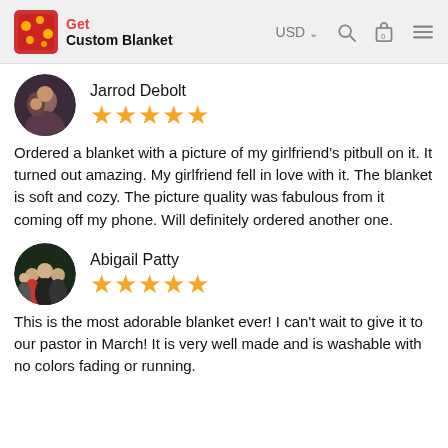Get Custom Blanket — USD
Jarrod Debolt
★★★★★
Ordered a blanket with a picture of my girlfriend's pitbull on it. It turned out amazing. My girlfriend fell in love with it. The blanket is soft and cozy. The picture quality was fabulous from it coming off my phone. Will definitely ordered another one.
Abigail Patty
★★★★★
This is the most adorable blanket ever! I can't wait to give it to our pastor in March! It is very well made and is washable with no colors fading or running.